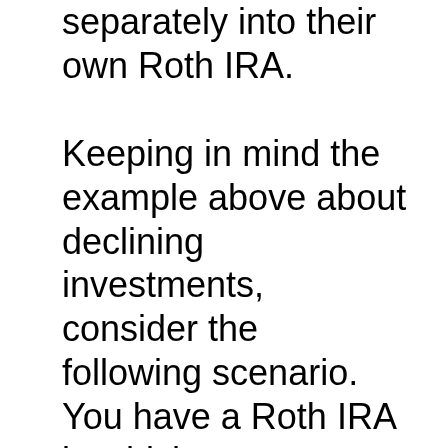separately into their own Roth IRA. Keeping in mind the example above about declining investments, consider the following scenario. You have a Roth IRA in which you converted two different investments. The value of one increases at the